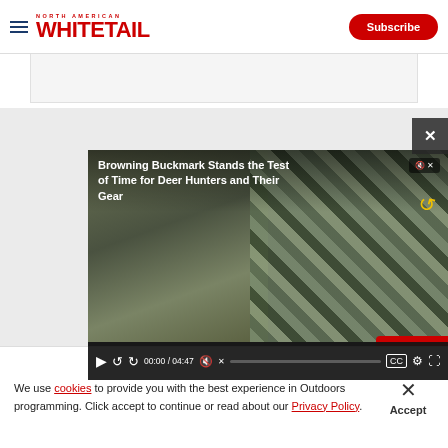North American Whitetail — Subscribe
[Figure (screenshot): Video player showing 'Browning Buckmark Stands the Test of Time for Deer Hunters and Their Gear', time 00:00 / 04:47, with camo hunting gear in background]
We use cookies to provide you with the best experience in Outdoors programming. Click accept to continue or read about our Privacy Policy.